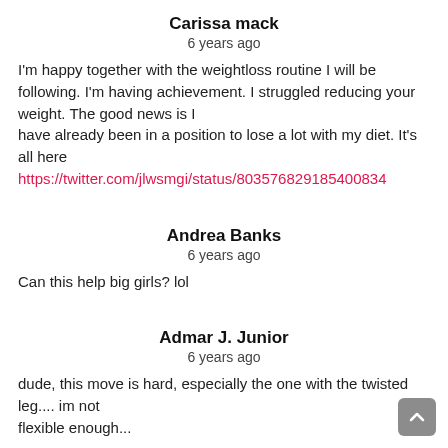Carissa mack
6 years ago
I'm happy together with the weightloss routine I will be following. I'm having achievement. I struggled reducing your weight. The good news is I have already been in a position to lose a lot with my diet. It's all here https://twitter.com/jlwsmgi/status/803576829185400834
Andrea Banks
6 years ago
Can this help big girls? lol
Admar J. Junior
6 years ago
dude, this move is hard, especially the one with the twisted leg.... im not flexible enough...